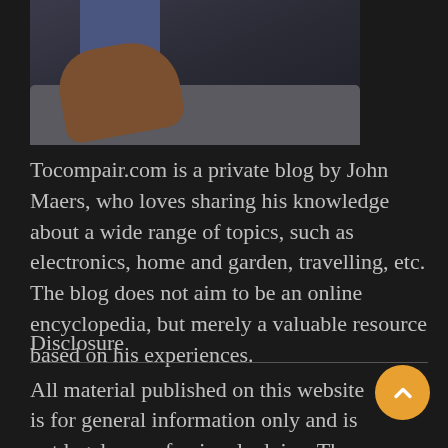[Figure (photo): Photo of a person's leg wearing jeans and a brown leather dress shoe, seated on a grey sofa, viewed from the side/above.]
Tocompair.com is a private blog by John Maers, who loves sharing his knowledge about a wide range of topics, such as electronics, home and garden, travelling, etc. The blog does not aim to be an online encyclopedia, but merely a valuable resource based on his experiences.
Disclosure
All material published on this website is for general information only and is not legal or professional advice. The views in this material do not necessarily represent the